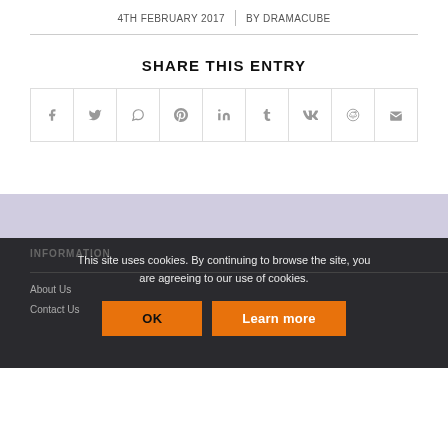4TH FEBRUARY 2017 | BY DRAMACUBE
SHARE THIS ENTRY
[Figure (other): Social share buttons grid: Facebook, Twitter, WhatsApp, Pinterest, LinkedIn, Tumblr, VK, Reddit, Email]
[Figure (other): Cookie consent overlay with OK and Learn more buttons on dark footer background]
INFORMATION
About Us
Contact Us